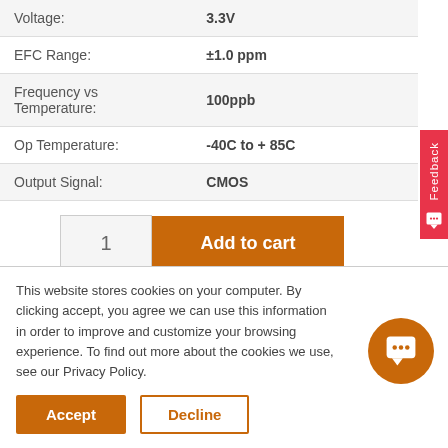| Property | Value |
| --- | --- |
| Voltage: | 3.3V |
| EFC Range: | ±1.0 ppm |
| Frequency vs Temperature: | 100ppb |
| Op Temperature: | -40C to + 85C |
| Output Signal: | CMOS |
1
Add to cart
Available on backorder
This website stores cookies on your computer. By clicking accept, you agree we can use this information in order to improve and customize your browsing experience. To find out more about the cookies we use, see our Privacy Policy.
Accept
Decline